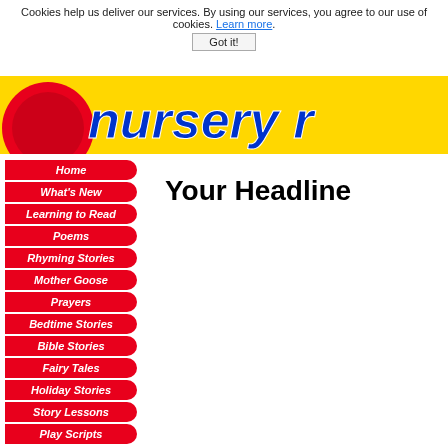Cookies help us deliver our services. By using our services, you agree to our use of cookies. Learn more.
Got it!
[Figure (illustration): Nursery rhyme website header banner with red circle/logo on left and blue italic text on yellow background]
Home
What's New
Learning to Read
Poems
Rhyming Stories
Mother Goose
Prayers
Bedtime Stories
Bible Stories
Fairy Tales
Holiday Stories
Story Lessons
Play Scripts
Your Headline